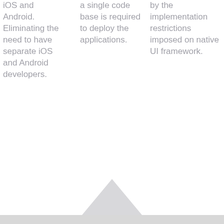iOS and Android. Eliminating the need to have separate iOS and Android developers.
a single code base is required to deploy the applications.
by the implementation restrictions imposed on native UI framework.